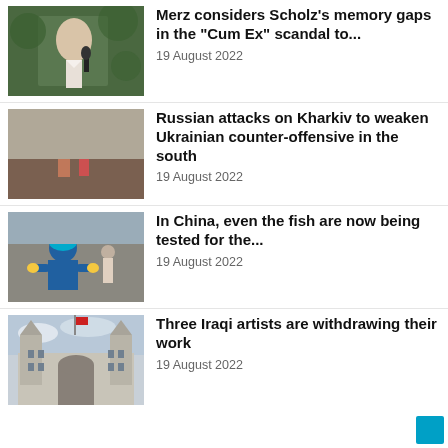[Figure (photo): Photo of Olaf Scholz speaking at a microphone outdoors]
Merz considers Scholz’s memory gaps in the “Cum Ex” scandal to...
19 August 2022
[Figure (photo): People looking at rubble and destruction, likely in Kharkiv, Ukraine]
Russian attacks on Kharkiv to weaken Ukrainian counter-offensive in the south
19 August 2022
[Figure (photo): Worker in blue protective gear and helmet, possibly in China]
In China, even the fish are now being tested for the...
19 August 2022
[Figure (photo): Ornate building facade, possibly a museum or government building in Iraq or Europe]
Three Iraqi artists are withdrawing their work
19 August 2022